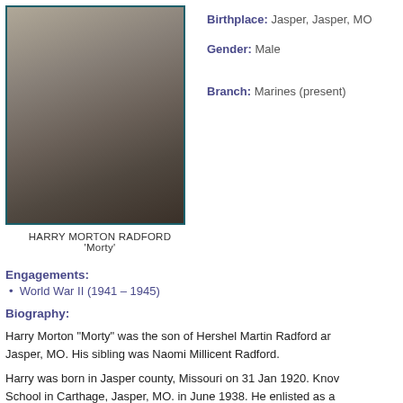[Figure (photo): Black and white portrait photo of Harry Morton Radford in military uniform]
HARRY MORTON RADFORD
'Morty'
Birthplace: Jasper, Jasper, MO
Gender: Male
Branch: Marines (present)
Engagements:
World War II (1941 – 1945)
Biography:
Harry Morton "Morty" was the son of Hershel Martin Radford and... Jasper, MO. His sibling was Naomi Millicent Radford.
Harry was born in Jasper county, Missouri on 31 Jan 1920. Kno... School in Carthage, Jasper, MO. in June 1938. He enlisted as a... Division, Kansas City, MO. The same day he was sent to the Re... San Diego and was assigned to the Third Recruit Battalion and... three daughters. Radford completed his internship...